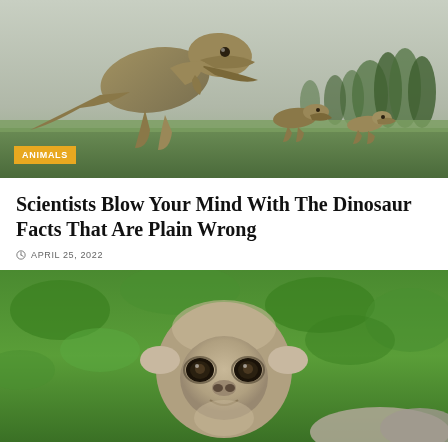[Figure (photo): Illustration of large theropod dinosaur (T-Rex) chasing smaller dinosaurs in a prehistoric landscape with trees in the background]
ANIMALS
Scientists Blow Your Mind With The Dinosaur Facts That Are Plain Wrong
APRIL 25, 2022
[Figure (photo): Close-up photo of a long-tailed macaque monkey looking at the camera, with blurred green foliage background]